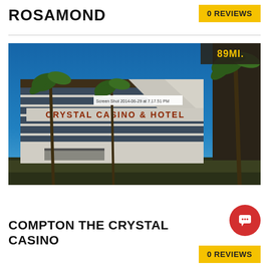ROSAMOND
0 REVIEWS
[Figure (photo): Exterior photo of Crystal Casino & Hotel building with palm trees and blue sky. Shows multi-story building with dark glass windows and signage reading 'CRYSTAL CASINO & HOTEL'. Distance badge '89MI.' in top right corner. Screenshot label 'Screen Shot 2014-06-29 at 7.17.51 PM' visible.]
COMPTON THE CRYSTAL CASINO
0 REVIEWS